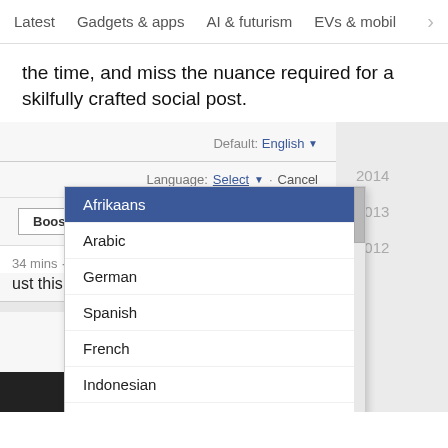Latest · Gadgets & apps · AI & futurism · EVs & mobil >
the time, and miss the nuance required for a skilfully crafted social post.
[Figure (screenshot): Facebook interface screenshot showing a language selection dropdown with options: Afrikaans (highlighted in blue), Arabic, German, Spanish, French, Indonesian, Italian, Portuguese, Russian. Behind the dropdown is a 'Default: English' label, a 'Language: Select · Cancel' row, a 'Boost Post' button, and a post snippet '34 mins · [globe] just this secure browser'. On the right is a sidebar showing years 2014, 2013, 2012.]